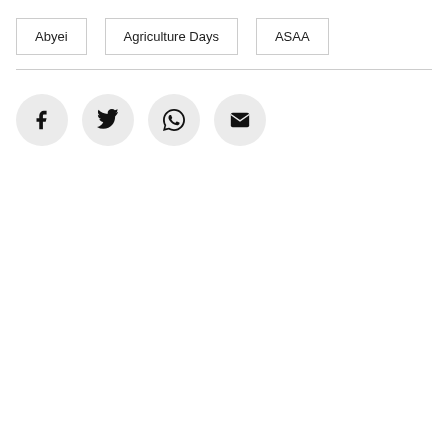Abyei
Agriculture Days
ASAA
[Figure (other): Social sharing icons: Facebook, Twitter, WhatsApp, Email — circular light grey buttons with black icons]